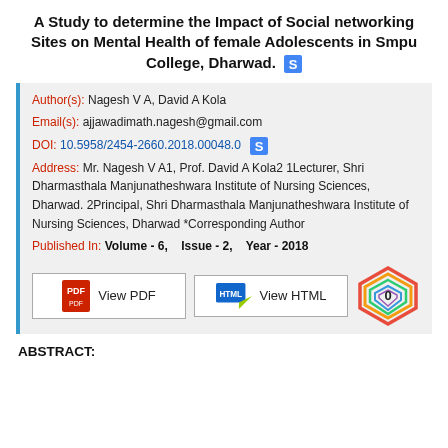A Study to determine the Impact of Social networking Sites on Mental Health of female Adolescents in Smpu College, Dharwad.
Author(s): Nagesh V A, David A Kola
Email(s): ajjawadimath.nagesh@gmail.com
DOI: 10.5958/2454-2660.2018.00048.0
Address: Mr. Nagesh V A1, Prof. David A Kola2 1Lecturer, Shri Dharmasthala Manjunatheshwara Institute of Nursing Sciences, Dharwad. 2Principal, Shri Dharmasthala Manjunatheshwara Institute of Nursing Sciences, Dharwad *Corresponding Author
Published In: Volume - 6,    Issue - 2,    Year - 2018
ABSTRACT: